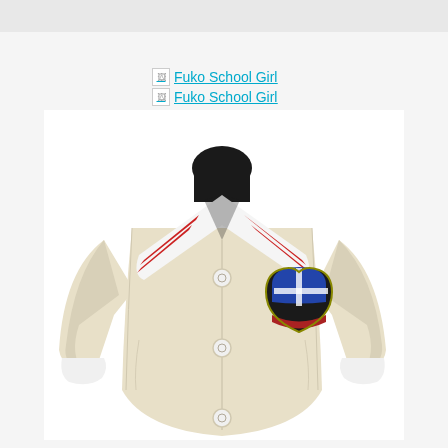[Figure (screenshot): Webpage screenshot showing two broken image links labeled 'Fuko School Girl' and below them a product photo of a cream/beige Japanese school uniform (sailor-style collar with red stripes, school crest badge, white buttons, long sleeves with white cuffs) on a headless mannequin against a white background.]
Fuko School Girl
Fuko School Girl